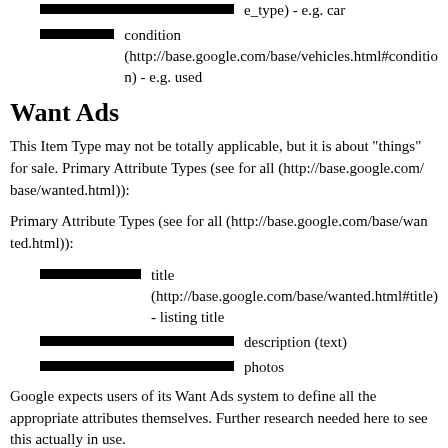e_type) - e.g. car
condition (http://base.google.com/base/vehicles.html#condition) - e.g. used
Want Ads
This Item Type may not be totally applicable, but it is about "things" for sale. Primary Attribute Types (see for all (http://base.google.com/base/wanted.html)):
Primary Attribute Types (see for all (http://base.google.com/base/wanted.html)):
title (http://base.google.com/base/wanted.html#title) - listing title
description (text)
photos
Google expects users of its Want Ads system to define all the appropriate attributes themselves. Further research needed here to see this actually in use.
Other Sites